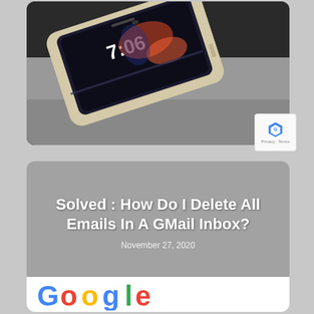[Figure (photo): A gold/silver smartphone lying on a gray surface, showing its lock screen with time displayed, viewed from a diagonal angle above.]
[Figure (screenshot): Article card with gray background showing article title 'Solved : How Do I Delete All Emails In A GMail Inbox?' with date November 27, 2020, and partial Google logo at bottom.]
Solved : How Do I Delete All Emails In A GMail Inbox?
November 27, 2020